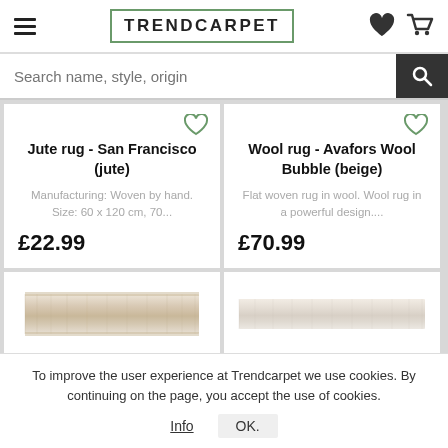TRENDCARPET
Search name, style, origin
Jute rug - San Francisco (jute)
Manufacturing: Woven by hand. Size: 60 x 120 cm, 70...
£22.99
Wool rug - Avafors Wool Bubble (beige)
Flat woven rug in wool. Wool rug in a powerful design....
£70.99
[Figure (photo): Beige/cream jute rug product image]
[Figure (photo): Light beige wool rug product image]
To improve the user experience at Trendcarpet we use cookies. By continuing on the page, you accept the use of cookies.
Info  OK.